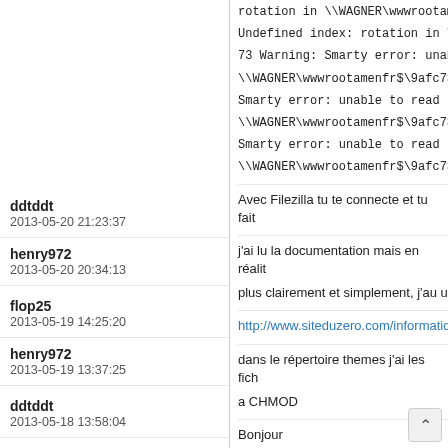rotation in \WAGNER\wwwrootamen
Undefined index: rotation in \WAGN
73 Warning: Smarty error: unable to
\WAGNER\wwwrootamenfr$\9afc73
Smarty error: unable to read resource
\WAGNER\wwwrootamenfr$\9afc73
Smarty error: unable to read resource
\WAGNER\wwwrootamenfr$\9afc73
Avec Filezilla tu te connecte et tu fait
j'ai lu la documentation mais en réalit
plus clairement et simplement, j'au u
http://www.siteduzero.com/informatiq
dans le répertoire themes j'ai les fich
a CHMOD
Bonjour
Tu as quoi comme CHMOD sur le ré
je n'ai pas intallé d'autre themes, vu
le lien:http://photos.combat-ouvrier.n
ddtddt
2013-05-20 21:23:37
henry972
2013-05-20 20:34:13
flop25
2013-05-19 14:25:20
henry972
2013-05-19 13:37:25
ddtddt
2013-05-18 13:58:04
henry972
2013-05-18 13:46:31
ddtddt
2013-05-17 06:20:40